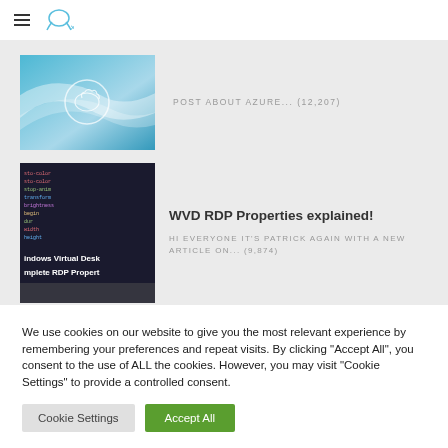≡ [cloud logo]
[Figure (screenshot): Azure-themed thumbnail with cloud logo and blue gradient background]
POST ABOUT AZURE... (12,207)
[Figure (screenshot): Dark code editor screenshot showing 'Windows Virtual Desktop Complete RDP Properties' text overlay]
WVD RDP Properties explained!
HI EVERYONE IT'S PATRICK AGAIN WITH A NEW ARTICLE ON... (9,874)
We use cookies on our website to give you the most relevant experience by remembering your preferences and repeat visits. By clicking "Accept All", you consent to the use of ALL the cookies. However, you may visit "Cookie Settings" to provide a controlled consent.
Cookie Settings   Accept All